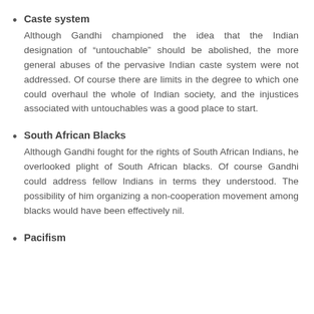Caste system
Although Gandhi championed the idea that the Indian designation of “untouchable” should be abolished, the more general abuses of the pervasive Indian caste system were not addressed. Of course there are limits in the degree to which one could overhaul the whole of Indian society, and the injustices associated with untouchables was a good place to start.
South African Blacks
Although Gandhi fought for the rights of South African Indians, he overlooked plight of South African blacks. Of course Gandhi could address fellow Indians in terms they understood. The possibility of him organizing a non-cooperation movement among blacks would have been effectively nil.
Pacifism